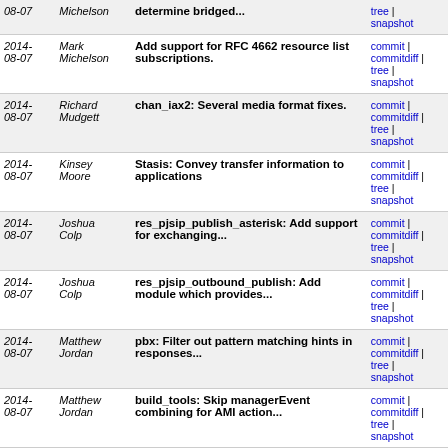| Date | Author | Message | Links |
| --- | --- | --- | --- |
| 2014-08-07 | Mark Michelson | Add support for RFC 4662 resource list subscriptions. | commit | commitdiff | tree | snapshot |
| 2014-08-07 | Richard Mudgett | chan_iax2: Several media format fixes. | commit | commitdiff | tree | snapshot |
| 2014-08-07 | Kinsey Moore | Stasis: Convey transfer information to applications | commit | commitdiff | tree | snapshot |
| 2014-08-07 | Joshua Colp | res_pjsip_publish_asterisk: Add support for exchanging... | commit | commitdiff | tree | snapshot |
| 2014-08-07 | Joshua Colp | res_pjsip_outbound_publish: Add module which provides... | commit | commitdiff | tree | snapshot |
| 2014-08-07 | Matthew Jordan | pbx: Filter out pattern matching hints in responses... | commit | commitdiff | tree | snapshot |
| 2014-08-07 | Matthew Jordan | build_tools: Skip managerEvent combining for AMI action... | commit | commitdiff | tree | snapshot |
| 2014-08-06 | Richard Mudgett | Blocked revisions 420262 | commit | commitdiff | tree | snapshot |
| 2014-08-06 | Richard Mudgett | Fix alembic script to work properly in offline mode. | commit | commitdiff | tree | snapshot |
| 2014-08-06 | Richard Mudgett | Add alembic script that adds contact user_agent and... | commit | commitdiff | tree | snapshot |